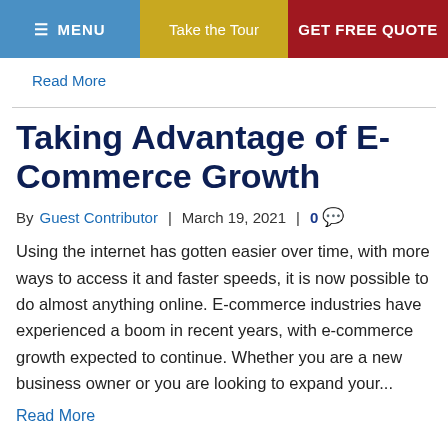≡ MENU | Take the Tour | GET FREE QUOTE
Read More
Taking Advantage of E-Commerce Growth
By Guest Contributor | March 19, 2021 | 0 💬
Using the internet has gotten easier over time, with more ways to access it and faster speeds, it is now possible to do almost anything online. E-commerce industries have experienced a boom in recent years, with e-commerce growth expected to continue. Whether you are a new business owner or you are looking to expand your...
Read More